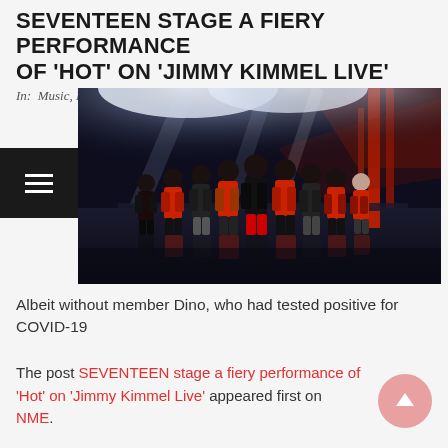SEVENTEEN STAGE A FIERY PERFORMANCE OF 'HOT' ON 'JIMMY KIMMEL LIVE'
In: Music, News
[Figure (photo): Group photo of SEVENTEEN members performing on stage with dramatic red and white stage lighting, reflective floor, members dressed in black and red outfits]
Albeit without member Dino, who had tested positive for COVID-19
The post SEVENTEEN stage a fiery performance of 'Hot' on 'Jimmy Kimmel Live' appeared first on NME.